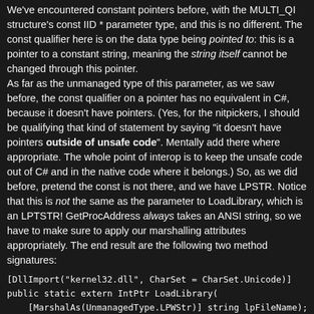We've encountered constant pointers before, with the MULTI_QI structure's const IID * parameter type, and this is no different. The const qualifier here is on the data type being pointed to: this is a pointer to a constant string, meaning the string itself cannot be changed through this pointer.
As far as the unmanaged type of this parameter, as we saw before, the const qualifier on a pointer has no equivalent in C#, because it doesn't have pointers. (Yes, for the nitpickers, I should be qualifying that kind of statement by saying "it doesn't have pointers outside of unsafe code". Mentally add there where appropriate. The whole point of interop is to keep the unsafe code out of C# and in the native code where it belongs.) So, as we did before, pretend the const is not there, and we have LPSTR. Notice that this is not the same as the parameter to LoadLibrary, which is an LPTSTR! GetProcAddress always takes an ANSI string, so we have to make sure to apply our marshalling attributes appropriately. The end result are the following two method signatures:
[DllImport("kernel32.dll", CharSet = CharSet.Unicode)]
public static extern IntPtr LoadLibrary(
    [MarshalAs(UnmanagedType.LPWStr)] string lpFileName);